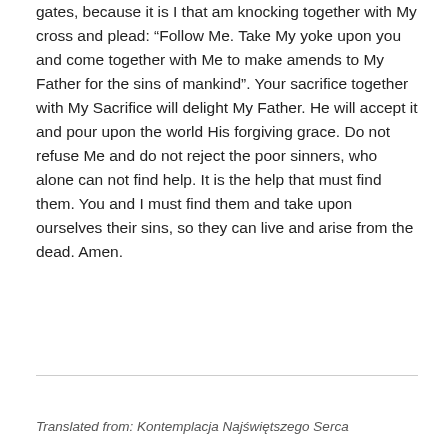gates, because it is I that am knocking together with My cross and plead: “Follow Me. Take My yoke upon you and come together with Me to make amends to My Father for the sins of mankind”. Your sacrifice together with My Sacrifice will delight My Father. He will accept it and pour upon the world His forgiving grace. Do not refuse Me and do not reject the poor sinners, who alone can not find help. It is the help that must find them. You and I must find them and take upon ourselves their sins, so they can live and arise from the dead. Amen.
Translated from: Kontemplacja Najświętszego Serca